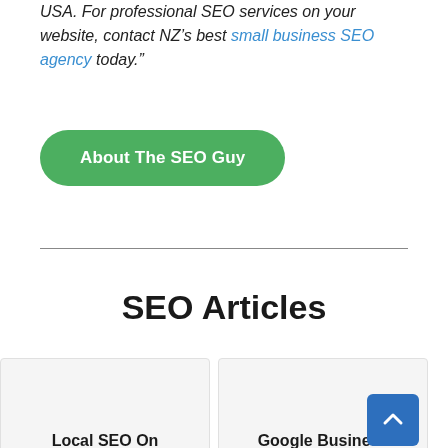USA. For professional SEO services on your website, contact NZ’s best small business SEO agency today."
[Figure (other): Green rounded button labeled 'About The SEO Guy']
SEO Articles
[Figure (other): Two article card previews: 'Local SEO On...' and 'Google Business...' with a blue scroll-to-top arrow button]